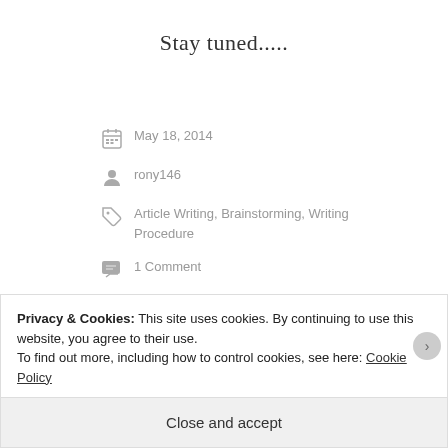Stay tuned.....
May 18, 2014
rony146
Article Writing, Brainstorming, Writing Procedure
1 Comment
Privacy & Cookies: This site uses cookies. By continuing to use this website, you agree to their use.
To find out more, including how to control cookies, see here: Cookie Policy
Close and accept